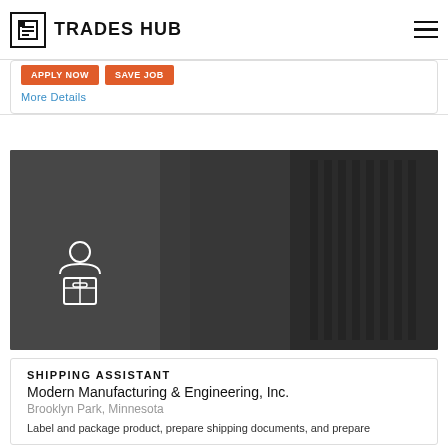TRADES HUB
More Details
[Figure (photo): Black and white photo of a worker's gloved hands using a tool on mechanical parts, with a worker/package icon overlay in the lower left]
SHIPPING ASSISTANT
Modern Manufacturing & Engineering, Inc.
Brooklyn Park, Minnesota
Label and package product, prepare shipping documents, and prepare